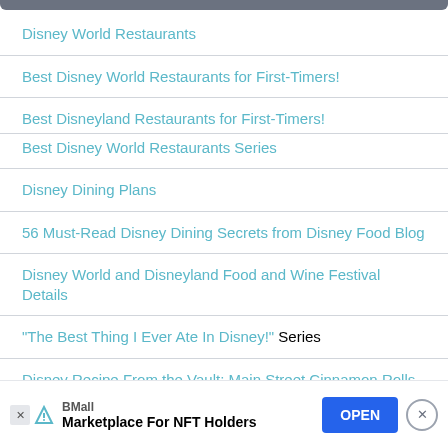Disney World Restaurants
Best Disney World Restaurants for First-Timers!
Best Disneyland Restaurants for First-Timers!
Best Disney World Restaurants Series
Disney Dining Plans
56 Must-Read Disney Dining Secrets from Disney Food Blog
Disney World and Disneyland Food and Wine Festival Details
"The Best Thing I Ever Ate In Disney!" Series
Disney Recipe From the Vault: Main Street Cinnamon Rolls
Top 1...
[Figure (screenshot): Advertisement banner: BMall - Marketplace For NFT Holders with OPEN button]